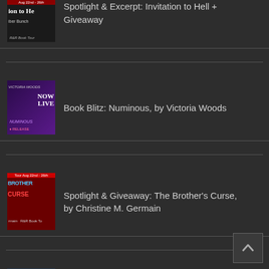Spotlight & Excerpt: Invitation to Hell + Giveaway
Book Blitz: Numinous, by Victoria Woods
Spotlight & Giveaway: The Brother's Curse, by Christine M. Germain
Spotlight & Excerpt: The Flight of the Ravenhawk + Giveaway